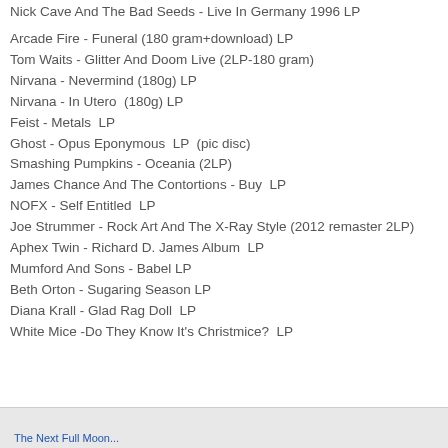Nick Cave And The Bad Seeds - Live In Germany 1996 LP
Arcade Fire - Funeral (180 gram+download) LP
Tom Waits - Glitter And Doom Live (2LP-180 gram)
Nirvana - Nevermind (180g) LP
Nirvana - In Utero  (180g) LP
Feist - Metals  LP
Ghost - Opus Eponymous  LP  (pic disc)
Smashing Pumpkins - Oceania (2LP)
James Chance And The Contortions - Buy  LP
NOFX - Self Entitled  LP
Joe Strummer - Rock Art And The X-Ray Style (2012 remaster 2LP)
Aphex Twin - Richard D. James Album  LP
Mumford And Sons - Babel LP
Beth Orton - Sugaring Season LP
Diana Krall - Glad Rag Doll  LP
White Mice -Do They Know It's Christmice?  LP
The Next Full Moon...